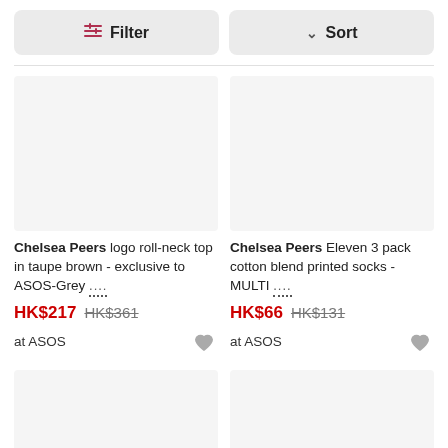Filter | Sort
[Figure (photo): Product image placeholder – grey rectangle for Chelsea Peers logo roll-neck top]
Chelsea Peers logo roll-neck top in taupe brown - exclusive to ASOS-Grey ....
HK$217 HK$361
at ASOS
[Figure (photo): Product image placeholder – grey rectangle for Chelsea Peers Eleven 3 pack cotton blend printed socks]
Chelsea Peers Eleven 3 pack cotton blend printed socks - MULTI ....
HK$66 HK$131
at ASOS